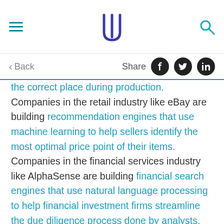[Hamburger menu] [Logo] [Search icon]
< Back   Share [Facebook] [Twitter] [LinkedIn]
the correct place during production.  Companies in the retail industry like eBay are building recommendation engines that use machine learning to help sellers identify the most optimal price point of their items.  Companies in the financial services industry like AlphaSense are building financial search engines that use natural language processing to help financial investment firms streamline the due diligence process done by analysts.  Companies in the healthcare industry like PathAI are building machine learning algorithms